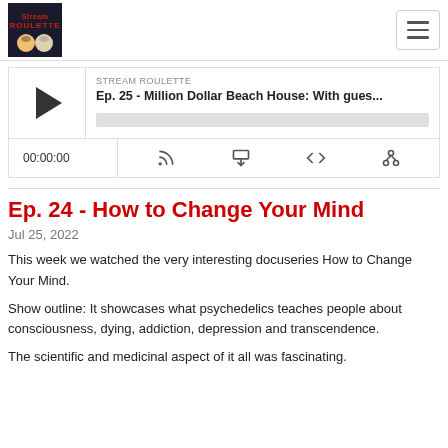[Figure (logo): Stream Roulette podcast logo with two illustrated faces on dark background]
[Figure (screenshot): Podcast player widget showing play button, episode title 'Ep. 25 - Million Dollar Beach House: With gues...' with progress bar and controls including timestamp 00:00:00, RSS, download, embed, and share icons]
Ep. 24 - How to Change Your Mind
Jul 25, 2022
This week we watched the very interesting docuseries How to Change Your Mind.
Show outline: It showcases what psychedelics teaches people about consciousness, dying, addiction, depression and transcendence.
The scientific and medicinal aspect of it all was fascinating.